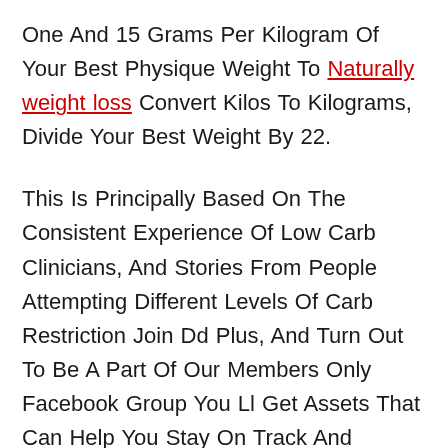One And 15 Grams Per Kilogram Of Your Best Physique Weight To Naturally weight loss Convert Kilos To Kilograms, Divide Your Best Weight By 22.
This Is Principally Based On The Consistent Experience Of Low Carb Clinicians, And Stories From People Attempting Different Levels Of Carb Restriction Join Dd Plus, And Turn Out To Be A Part Of Our Members Only Facebook Group You Ll Get Assets That Can Help You Stay On Track And